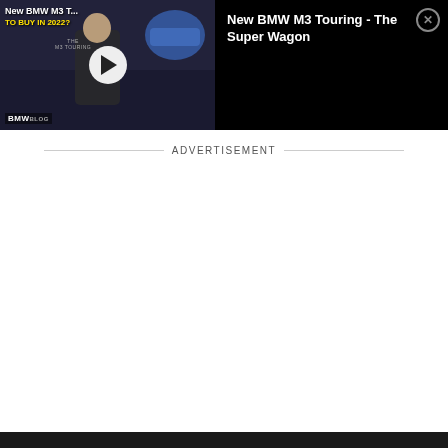[Figure (screenshot): Video player thumbnail showing BMW M3 Touring video titled 'New BMW M3 Touring - The Super Wagon' with a play button overlay and BMWBLOG branding. Left side shows video thumbnail with man in black t-shirt and text overlays. Right side shows black panel with video title and close button.]
ADVERTISEMENT